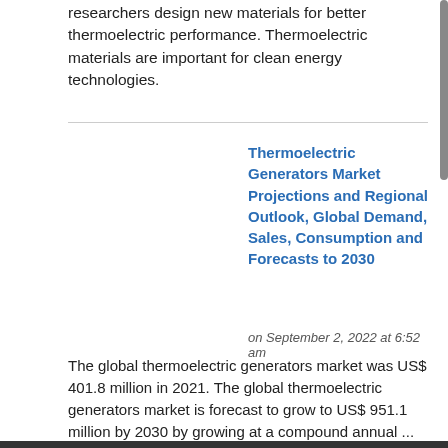researchers design new materials for better thermoelectric performance. Thermoelectric materials are important for clean energy technologies.
Thermoelectric Generators Market Projections and Regional Outlook, Global Demand, Sales, Consumption and Forecasts to 2030
on September 2, 2022 at 6:52 am
The global thermoelectric generators market was US$ 401.8 million in 2021. The global thermoelectric generators market is forecast to grow to US$ 951.1 million by 2030 by growing at a compound annual ...
Thermoelectric Material Market 2022 - Key Drivers, Top